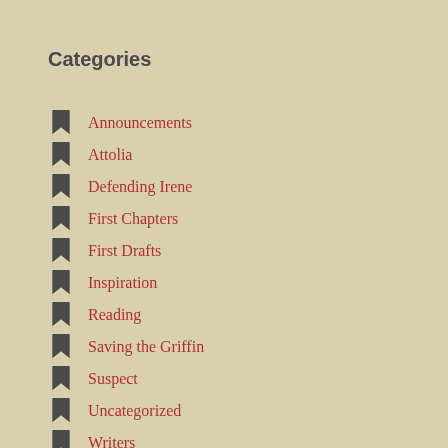Categories
Announcements
Attolia
Defending Irene
First Chapters
First Drafts
Inspiration
Reading
Saving the Griffin
Suspect
Uncategorized
Writers
Writing
YA mystery